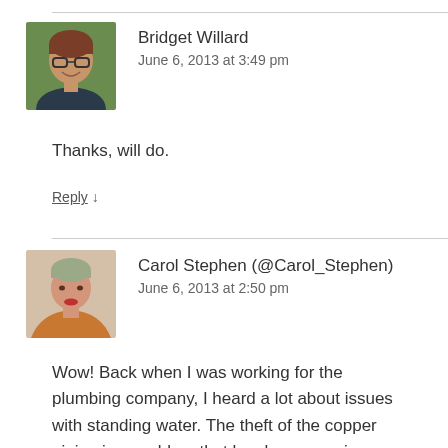[Figure (photo): Avatar photo of Bridget Willard, a woman with glasses, short reddish hair, wearing a dark top, outdoors background]
Bridget Willard
June 6, 2013 at 3:49 pm
Thanks, will do.
Reply ↓
[Figure (photo): Avatar photo of Carol Stephen, a woman with short light hair, wearing an orange/brown wrap, with red lipstick]
Carol Stephen (@Carol_Stephen)
June 6, 2013 at 2:50 pm
Wow! Back when I was working for the plumbing company, I heard a lot about issues with standing water. The theft of the copper piping is a problem that has been growing, esp. since so many were out of work during the past few years. Thanks for the thorough blogpost. Much appreciated.